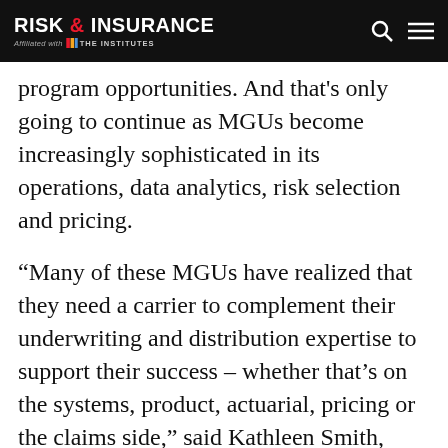RISK & INSURANCE — Affiliated with THE INSTITUTES
program opportunities. And that's only going to continue as MGUs become increasingly sophisticated in its operations, data analytics, risk selection and pricing.
“Many of these MGUs have realized that they need a carrier to complement their underwriting and distribution expertise to support their success – whether that’s on the systems, product, actuarial, pricing or the claims side,” said Kathleen Smith, SVP Chief Underwriting Officer for AmTrust Specialty Programs. “That’s where we come in. We’ve successfully built out all of these capabilities